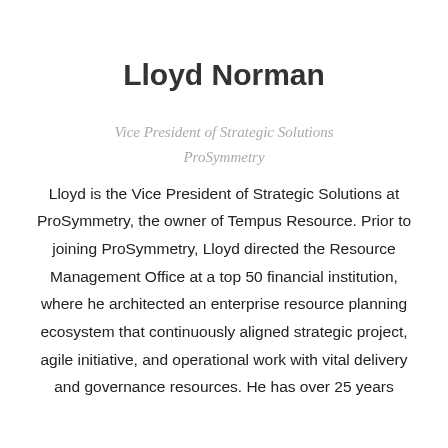Lloyd Norman
Vice President of Strategic Solutions
ProSymmetry
Lloyd is the Vice President of Strategic Solutions at ProSymmetry, the owner of Tempus Resource. Prior to joining ProSymmetry, Lloyd directed the Resource Management Office at a top 50 financial institution, where he architected an enterprise resource planning ecosystem that continuously aligned strategic project, agile initiative, and operational work with vital delivery and governance resources. He has over 25 years